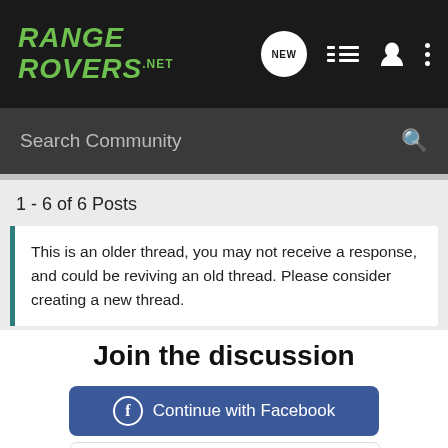RANGE ROVERS .NET
Search Community
1 - 6 of 6 Posts
This is an older thread, you may not receive a response, and could be reviving an old thread. Please consider creating a new thread.
Join the discussion
Continue with Facebook
Continue with Google
or sign up with email